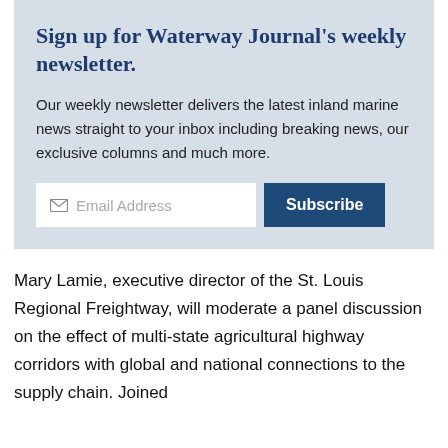Sign up for Waterway Journal's weekly newsletter.
Our weekly newsletter delivers the latest inland marine news straight to your inbox including breaking news, our exclusive columns and much more.
[Figure (other): Email address input field with envelope icon and placeholder text 'Email Address', alongside a dark blue 'Subscribe' button]
Mary Lamie, executive director of the St. Louis Regional Freightway, will moderate a panel discussion on the effect of multi-state agricultural highway corridors with global and national connections to the supply chain. Joined